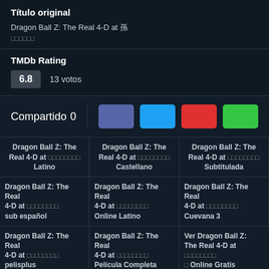Título original
Dragon Ball Z: The Real 4-D at 孫悟空目醒!!
TMDb Rating
6.8  13 votos
Compartido  0
| Dragon Ball Z: The Real 4-D at □□□□□□□□ Latino | Dragon Ball Z: The Real 4-D at □□□□□□□□ Castellano | Dragon Ball Z: The Real 4-D at □□□□□□□□ Subtitulada |
| --- | --- | --- |
| Dragon Ball Z: The Real 4-D at □□□□□□□□ sub español | Dragon Ball Z: The Real 4-D at □□□□□□□□ Online Latino | Dragon Ball Z: The Real 4-D at □□□□□□□□ Cuevana 3 |
| Dragon Ball Z: The Real 4-D at □□□□□□□□ pelisplus | Dragon Ball Z: The Real 4-D at □□□□□□□□ Película Completa | Ver Dragon Ball Z: The Real 4-D at □□□□□□□□ □ Online Gratis |